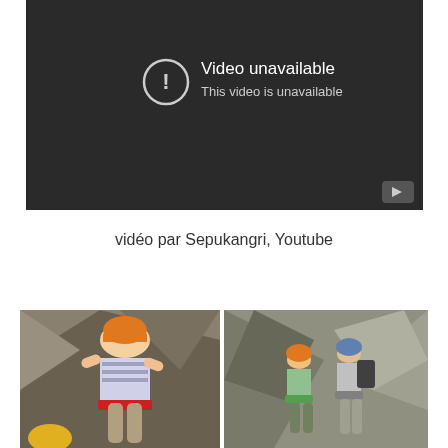[Figure (screenshot): YouTube video player showing 'Video unavailable' error message with a circle-exclamation icon on a dark background. Text reads: 'Video unavailable' and 'This video is unavailable'. A YouTube play button icon is visible in the bottom-right corner.]
vidéo par Sepukangri, Youtube
[Figure (photo): Two side-by-side photographs of people rock climbing or via ferrata. Left photo shows a smiling girl wearing an orange/yellow helmet and harness on a rock face. Right photo shows two climbers in helmets on a steep rocky cliff.]